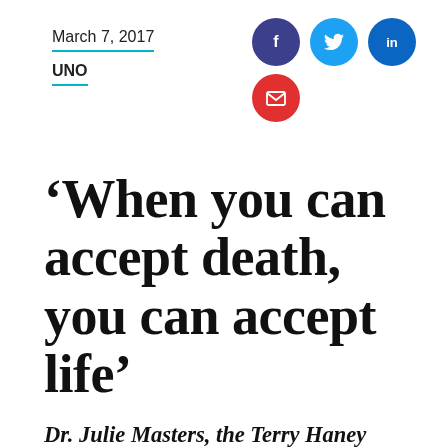March 7, 2017
UNO
[Figure (illustration): Social media share icons: Facebook (dark blue), Twitter (light blue), LinkedIn (blue), and email (red) circular buttons]
‘When you can accept death, you can accept life’
Dr. Julie Masters, the Terry Haney Chair of Gerontology at UNO, loves helping older people – and her students – understand aging.